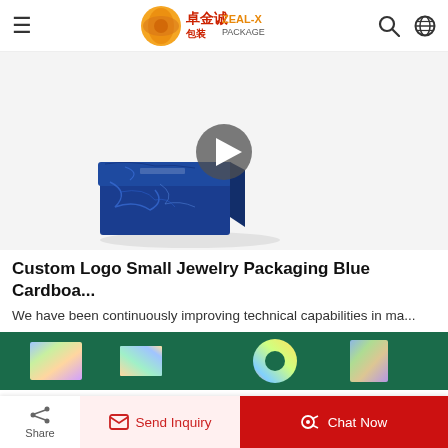卓金诚包装 ZEAL-X PACKAGE
[Figure (photo): Video thumbnail showing a small blue marbled jewelry box on a white background with a circular gray play button overlay]
Custom Logo Small Jewelry Packaging Blue Cardboa...
We have been continuously improving technical capabilities in ma...
[Figure (photo): Bottom strip showing holographic foil stamping samples on a dark green background with gold and silver iridescent shapes]
Share | Send Inquiry | Chat Now